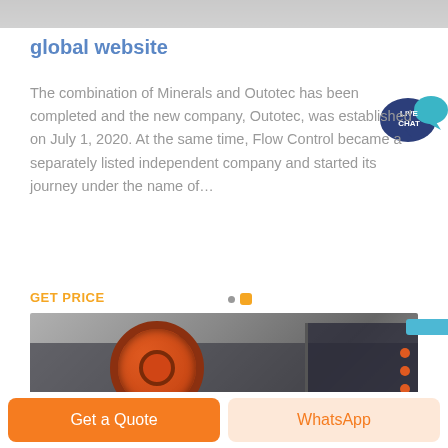[Figure (photo): Top portion of a photo partially visible at the top of the page — appears to be equipment or a person, cropped]
global website
The combination of Minerals and Outotec has been completed and the new company, Outotec, was established on July 1, 2020. At the same time, Flow Control became a separately listed independent company and started its journey under the name of…
[Figure (other): Live Chat speech bubble badge in teal/navy blue with 'LIVE CHAT' text]
GET PRICE
[Figure (photo): Industrial mining machinery — large jaw crusher with red flywheel visible in a factory/warehouse setting]
[Figure (other): Small cyan/blue rectangle button partially visible on right edge]
Get a Quote
WhatsApp